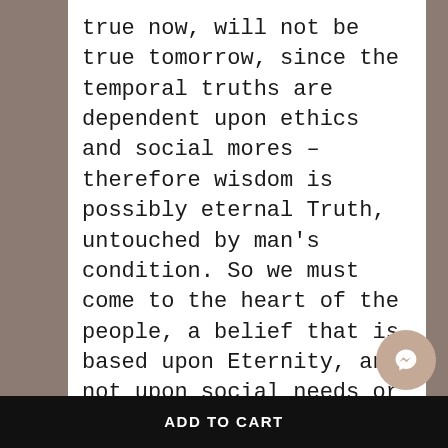true now, will not be true tomorrow, since the temporal truths are dependent upon ethics and social mores – therefore wisdom is possibly eternal Truth, untouched by man's condition. So we must come to the heart of the people, a belief that is based upon Eternity, and not upon social needs or pressures – the 'witch' belief then is concerned with wisdom, our true name, then the wise people and wisdom is our aim." – Robert Cochran
ADD TO CART